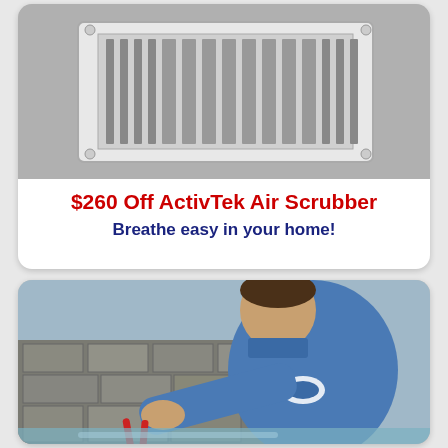[Figure (photo): Close-up photo of a white wall air vent/register with horizontal louvers, mounted on a light grey wall]
$260 Off ActivTek Air Scrubber
Breathe easy in your home!
[Figure (photo): A technician in a blue uniform shirt with a logo badge, leaning forward and working with pliers/tools on what appears to be HVAC or plumbing equipment outdoors near a stone wall]